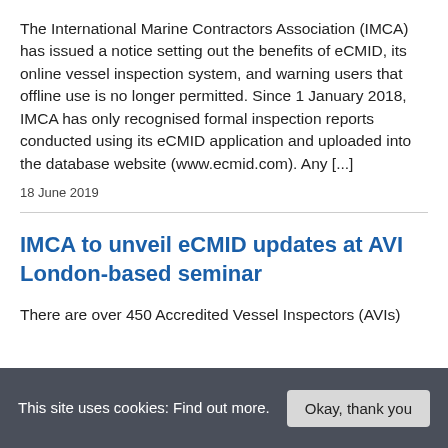The International Marine Contractors Association (IMCA) has issued a notice setting out the benefits of eCMID, its online vessel inspection system, and warning users that offline use is no longer permitted. Since 1 January 2018, IMCA has only recognised formal inspection reports conducted using its eCMID application and uploaded into the database website (www.ecmid.com). Any [...]
18 June 2019
IMCA to unveil eCMID updates at AVI London-based seminar
There are over 450 Accredited Vessel Inspectors (AVIs)
This site uses cookies: Find out more.
Okay, thank you